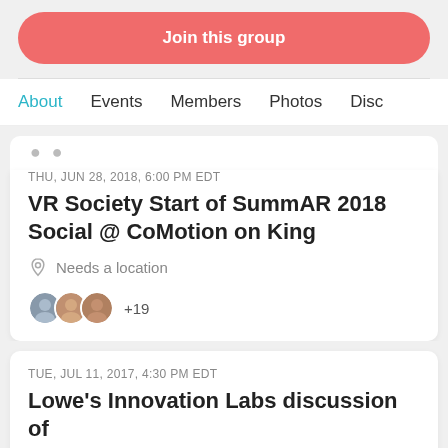Join this group
About  Events  Members  Photos  Disc
THU, JUN 28, 2018, 6:00 PM EDT
VR Society Start of SummAR 2018 Social @ CoMotion on King
Needs a location
+19
TUE, JUL 11, 2017, 4:30 PM EDT
Lowe's Innovation Labs discussion of